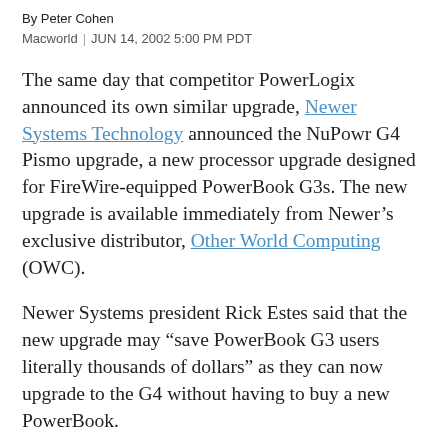By Peter Cohen
Macworld | JUN 14, 2002 5:00 PM PDT
The same day that competitor PowerLogix announced its own similar upgrade, Newer Systems Technology announced the NuPowr G4 Pismo upgrade, a new processor upgrade designed for FireWire-equipped PowerBook G3s. The new upgrade is available immediately from Newer’s exclusive distributor, Other World Computing (OWC).
Newer Systems president Rick Estes said that the new upgrade may “save PowerBook G3 users literally thousands of dollars” as they can now upgrade to the G4 without having to buy a new PowerBook.
The upgrade enables PowerBook G3 400MHz and 500MHz systems to have their original G3